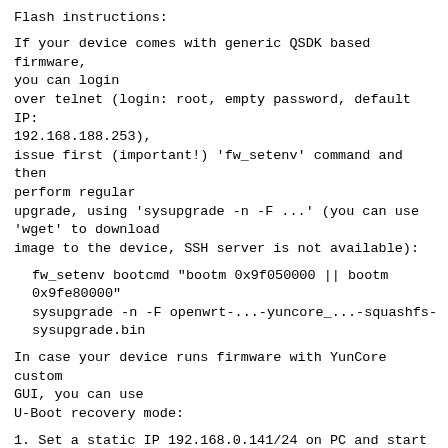Flash instructions:
If your device comes with generic QSDK based firmware, you can login
over telnet (login: root, empty password, default IP:
192.168.188.253),
issue first (important!) 'fw_setenv' command and then perform regular
upgrade, using 'sysupgrade -n -F ...' (you can use 'wget' to download
image to the device, SSH server is not available):
fw_setenv bootcmd "bootm 0x9f050000 || bootm
0x9fe80000"
  sysupgrade -n -F openwrt-...-yuncore_...-squashfs-
sysupgrade.bin
In case your device runs firmware with YunCore custom GUI, you can use
U-Boot recovery mode:
1. Set a static IP 192.168.0.141/24 on PC and start TFTP server with
    'tftp' image renamed to 'upgrade.bin'
2. Power the device with reset button pressed and release it after 5-7
    seconds, recovery mode should start downloading image from server
    (unfortunately, there is no visible indication that
recovery got